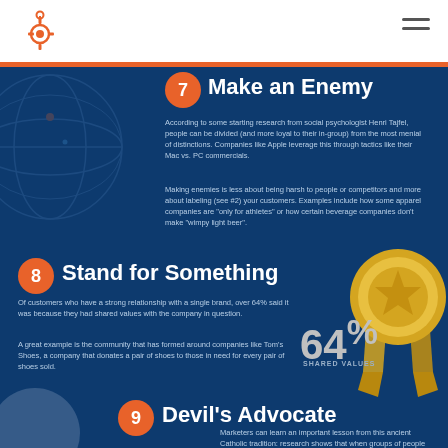[Figure (logo): HubSpot orange sprocket logo in top-left white header]
[Figure (illustration): Hamburger menu icon top-right]
[Figure (illustration): Background globe wireframe illustration in blue]
7  Make an Enemy
According to some starting research from social psychologist Henri Tajfel, people can be divided (and more loyal to their in-group) from the most menial of distinctions. Companies like Apple leverage this through tactics like their Mac vs. PC commercials.
Making enemies is less about being harsh to people or competitors and more about labeling (see #2) your customers. Examples include how some apparel companies are "only for athletes" or how certain beverage companies don't make "wimpy light beer".
8  Stand for Something
Of customers who have a strong relationship with a single brand, over 64% said it was because they had shared values with the company in question.
A great example is the community that has formed around companies like Tom's Shoes, a company that donates a pair of shoes to those in need for every pair of shoes sold.
64%
SHARED VALUES
[Figure (illustration): Gold medal / ribbon award illustration on right side]
9  Devil's Advocate
Marketers can learn an important lesson from this ancient Catholic tradition: research shows that when groups of people have their ideas questioned by a